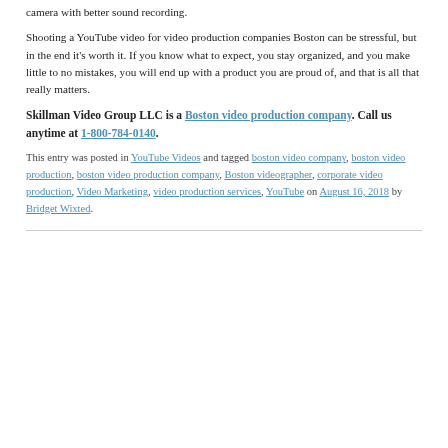camera with better sound recording.
Shooting a YouTube video for video production companies Boston can be stressful, but in the end it’s worth it. If you know what to expect, you stay organized, and you make little to no mistakes, you will end up with a product you are proud of, and that is all that really matters.
Skillman Video Group LLC is a Boston video production company. Call us anytime at 1-800-784-0140.
This entry was posted in YouTube Videos and tagged boston video company, boston video production, boston video production company, Boston videographer, corporate video production, Video Marketing, video production services, YouTube on August 16, 2018 by Bridget Wixted.